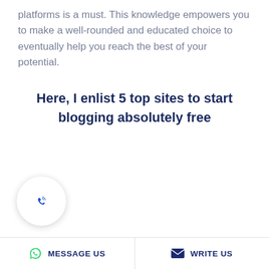platforms is a must. This knowledge empowers you to make a well-rounded and educated choice to eventually help you reach the best of your potential.
Here, I enlist 5 top sites to start blogging absolutely free
[Figure (other): Phone/call button icon in a circular white card with shadow]
MESSAGE US   WRITE US